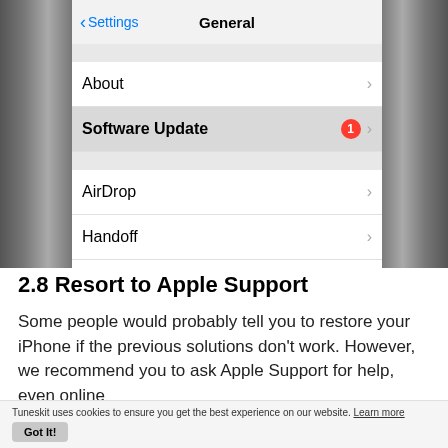[Figure (screenshot): iPhone Settings > General screen showing menu items: About, Software Update (with red badge showing 1), AirDrop, Handoff. Software Update row is highlighted/selected.]
2.8 Resort to Apple Support
Some people would probably tell you to restore your iPhone if the previous solutions don't work. However, we recommend you to ask Apple Support for help, even online
Tuneskit uses cookies to ensure you get the best experience on our website. Learn more
Got It!